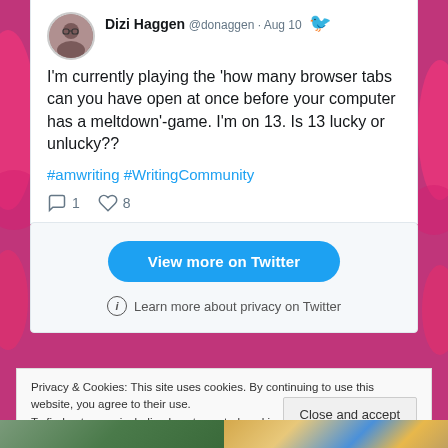[Figure (screenshot): Tweet by Dizi Haggen (@donaggen, Aug 10) with avatar photo of a woman with glasses. Tweet text: I'm currently playing the 'how many browser tabs can you have open at once before your computer has a meltdown'-game. I'm on 13. Is 13 lucky or unlucky?? Hashtags: #amwriting #WritingCommunity. Actions: 1 reply, 8 likes.]
[Figure (screenshot): Twitter embedded widget showing a blue rounded 'View more on Twitter' button and an info line 'Learn more about privacy on Twitter'.]
Privacy & Cookies: This site uses cookies. By continuing to use this website, you agree to their use. To find out more, including how to control cookies, see here: Cookie Policy